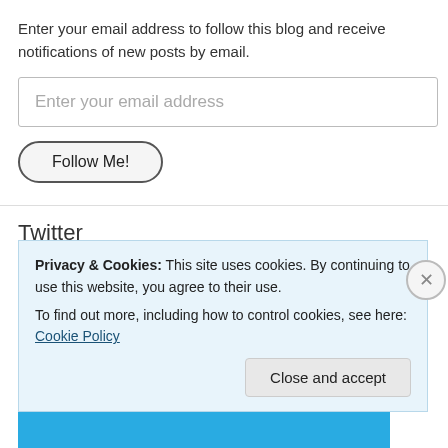Enter your email address to follow this blog and receive notifications of new posts by email.
[Figure (screenshot): Email input field with placeholder text 'Enter your email address']
[Figure (screenshot): Button labeled 'Follow Me!' with rounded pill shape and dark border]
Twitter
RT @BootstrapCook: Rivers and seas of literal shit. Striking rail workers, post office workers, and many other workers. Pensioners
Privacy & Cookies: This site uses cookies. By continuing to use this website, you agree to their use.
To find out more, including how to control cookies, see here: Cookie Policy